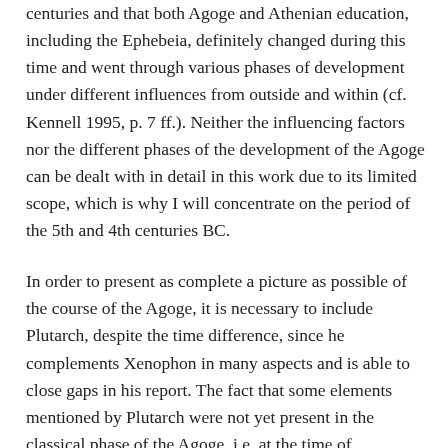centuries and that both Agoge and Athenian education, including the Ephebeia, definitely changed during this time and went through various phases of development under different influences from outside and within (cf. Kennell 1995, p. 7 ff.). Neither the influencing factors nor the different phases of the development of the Agoge can be dealt with in detail in this work due to its limited scope, which is why I will concentrate on the period of the 5th and 4th centuries BC.
In order to present as complete a picture as possible of the course of the Agoge, it is necessary to include Plutarch, despite the time difference, since he complements Xenophon in many aspects and is able to close gaps in his report. The fact that some elements mentioned by Plutarch were not yet present in the classical phase of the Agoge, i.e. at the time of Xenophon and thus within the period under investigation here, is self-evident due to the time